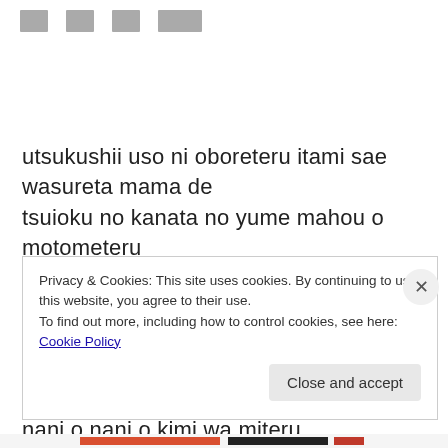□□  □□  □□  □□□
utsukushii uso ni oboreteru itami sae wasureta mama de
tsuioku no kanata no yume mahou o motometeru
habataite wa ochite wa kiete nozonde wa yugande ku
yume
souzou no hate ni
nani o nani o kimi wa miteru
Privacy & Cookies: This site uses cookies. By continuing to use this website, you agree to their use.
To find out more, including how to control cookies, see here: Cookie Policy
Close and accept